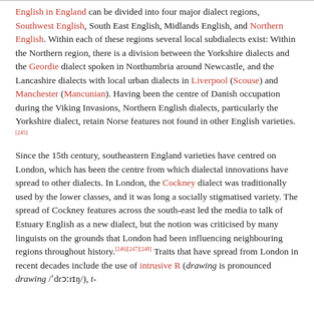English in England can be divided into four major dialect regions, Southwest English, South East English, Midlands English, and Northern English. Within each of these regions several local subdialects exist: Within the Northern region, there is a division between the Yorkshire dialects and the Geordie dialect spoken in Northumbria around Newcastle, and the Lancashire dialects with local urban dialects in Liverpool (Scouse) and Manchester (Mancunian). Having been the centre of Danish occupation during the Viking Invasions, Northern English dialects, particularly the Yorkshire dialect, retain Norse features not found in other English varieties.[245]
Since the 15th century, southeastern England varieties have centred on London, which has been the centre from which dialectal innovations have spread to other dialects. In London, the Cockney dialect was traditionally used by the lower classes, and it was long a socially stigmatised variety. The spread of Cockney features across the south-east led the media to talk of Estuary English as a new dialect, but the notion was criticised by many linguists on the grounds that London had been influencing neighbouring regions throughout history.[246][247][248] Traits that have spread from London in recent decades include the use of intrusive R (drawing is pronounced drawing /ˈdrɔːrɪŋ/), t-